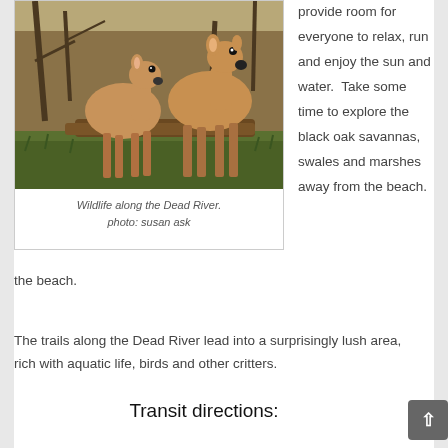[Figure (photo): Two white-tailed deer standing in a wooded area with green grass and fallen branches. Wildlife along the Dead River.]
Wildlife along the Dead River. photo: susan ask
provide room for everyone to relax, run and enjoy the sun and water.  Take some time to explore the black oak savannas, swales and marshes away from the beach.
The trails along the Dead River lead into a surprisingly lush area, rich with aquatic life, birds and other critters.
Transit directions: